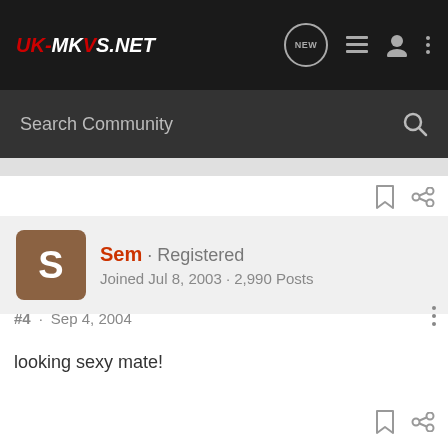UK-MKVS.NET
Search Community
Sem · Registered
Joined Jul 8, 2003 · 2,990 Posts
#4 · Sep 4, 2004
looking sexy mate!